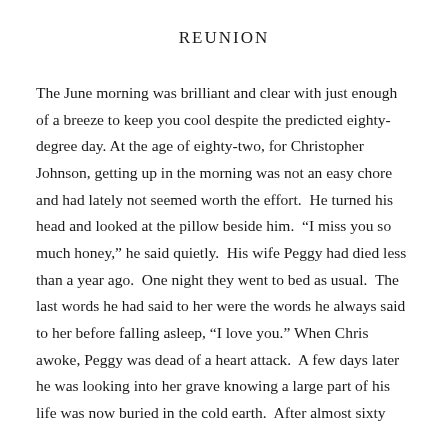REUNION
The June morning was brilliant and clear with just enough of a breeze to keep you cool despite the predicted eighty-degree day. At the age of eighty-two, for Christopher Johnson, getting up in the morning was not an easy chore and had lately not seemed worth the effort. He turned his head and looked at the pillow beside him. “I miss you so much honey,” he said quietly. His wife Peggy had died less than a year ago. One night they went to bed as usual. The last words he had said to her were the words he always said to her before falling asleep, “I love you.” When Chris awoke, Peggy was dead of a heart attack. A few days later he was looking into her grave knowing a large part of his life was now buried in the cold earth. After almost sixty